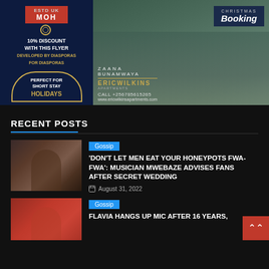[Figure (infographic): Advertisement banner for MOH and Eric Wilkins Apartments. Left side: MOH logo with '10% DISCOUNT WITH THIS FLYER, DEVELOPED BY DIASPORAS FOR DIASPORAS' and 'PERFECT FOR SHORT STAY HOLIDAYS'. Right side: photo of apartment building exterior with 'CHRISTMAS Booking' overlay, ZAANA BUNAMWAYA, ERICWILKINS APARTMENTS, CALL +256785615265, www.ericwilkinsapartments.com]
RECENT POSTS
[Figure (photo): Thumbnail photo of a couple at a wedding, the bride wearing a crown/tiara]
Gossip
'DON'T LET MEN EAT YOUR HONEYPOTS FWA-FWA': MUSICIAN MWEBAZE ADVISES FANS AFTER SECRET WEDDING
August 31, 2022
[Figure (photo): Thumbnail photo of a woman in a red top posing outdoors]
Gossip
FLAVIA HANGS UP MIC AFTER 16 YEARS,